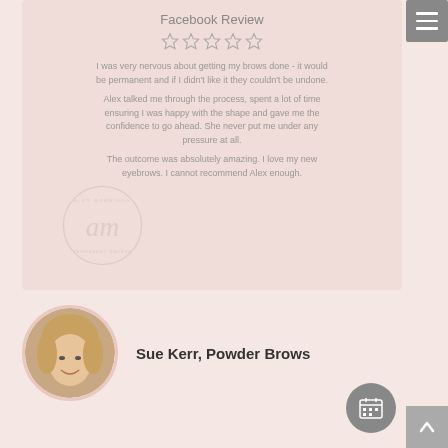Facebook Review
[Figure (illustration): Five star rating with star outlines]
I was very nervous about getting my brows done - it would be permanent and if I didn't like it they couldn't be undone.
Alex talked me through the process, spent a lot of time ensuring I was happy with the shape and gave me the confidence to go ahead. She never put me under any pressure at all.
The outcome was absolutely amazing. I love my new eyebrows. I cannot recommend Alex enough.
[Figure (photo): Circular profile photo of Sue Kerr, a woman with blonde hair, smiling]
Sue Kerr, Powder Brows